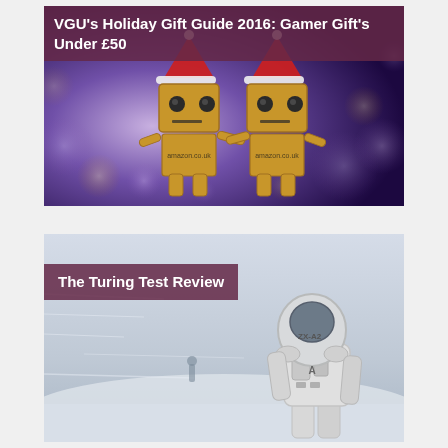[Figure (photo): Two Danbo cardboard box robots wearing red Santa Claus hats, holding hands against a purple bokeh background]
VGU’s Holiday Gift Guide 2016: Gamer Gift’s Under £50
[Figure (photo): A sci-fi astronaut in a white space suit with ZX-A2 markings standing in a snowy blizzard landscape, viewed from behind]
The Turing Test Review